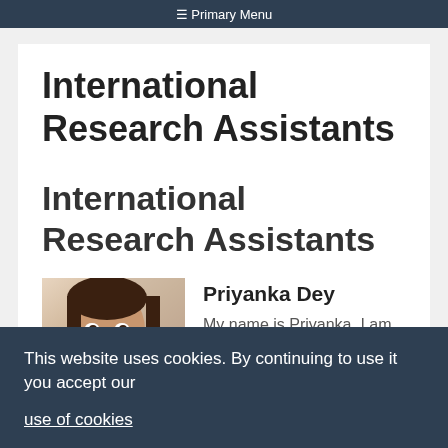Primary Menu
International Research Assistants
International Research Assistants
[Figure (photo): Portrait photo of Priyanka Dey]
Priyanka Dey
My name is Priyanka. I am
This website uses cookies. By continuing to use it you accept our
use of cookies